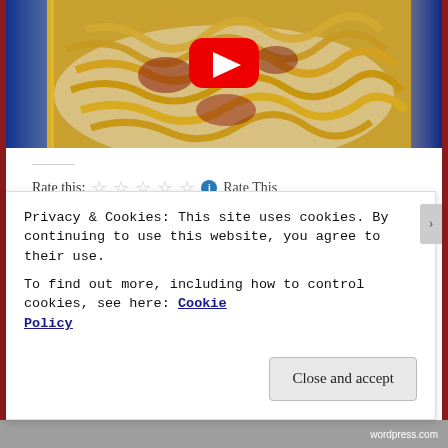[Figure (screenshot): YouTube video thumbnail showing a bowl of spaghetti/noodles with tomato sauce, with a red YouTube play button overlaid in the center. Blue side bars frame the image.]
Rate this: ☆☆☆☆☆  Rate This
Share this:
Privacy & Cookies: This site uses cookies. By continuing to use this website, you agree to their use.
To find out more, including how to control cookies, see here: Cookie Policy
Close and accept